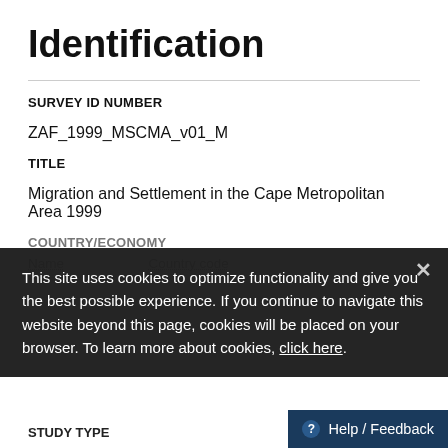Identification
SURVEY ID NUMBER
ZAF_1999_MSCMA_v01_M
TITLE
Migration and Settlement in the Cape Metropolitan Area 1999
COUNTRY/ECONOMY
Name    Country code
This site uses cookies to optimize functionality and give you the best possible experience. If you continue to navigate this website beyond this page, cookies will be placed on your browser. To learn more about cookies, click here.
STUDY TYPE